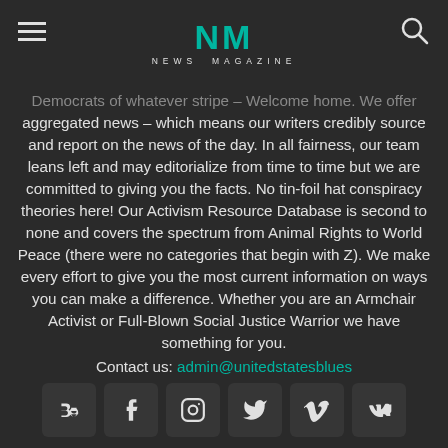NM NEWS MAGAZINE
Democrats of whatever stripe – Welcome home. We offer aggregated news – which means our writers credibly source and report on the news of the day. In all fairness, our team leans left and may editorialize from time to time but we are committed to giving you the facts. No tin-foil hat conspiracy theories here! Our Activism Resource Database is second to none and covers the spectrum from Animal Rights to World Peace (there were no categories that begin with Z). We make every effort to give you the most current information on ways you can make a difference. Whether you are an Armchair Activist or Full-Blown Social Justice Warrior we have something for you.
Contact us: admin@unitedstatesblues
[Figure (other): Social media icon bar with Behance, Facebook, Instagram, Twitter, Vimeo, and VK icons]